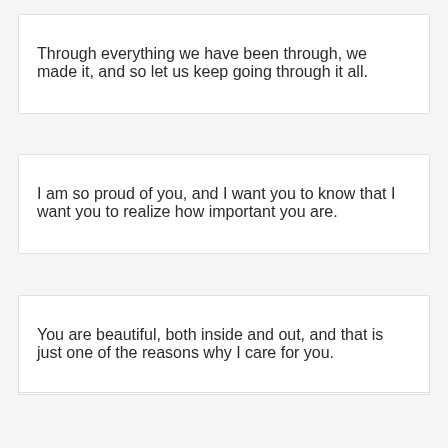Through everything we have been through, we made it, and so let us keep going through it all.
I am so proud of you, and I want you to know that I want you to realize how important you are.
You are beautiful, both inside and out, and that is just one of the reasons why I care for you.
Out of all the girls in my life, you that I care for the most, I am happy you are mine.